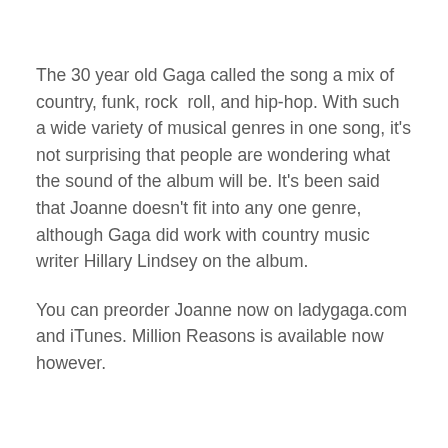The 30 year old Gaga called the song a mix of country, funk, rock  roll, and hip-hop. With such a wide variety of musical genres in one song, it's not surprising that people are wondering what the sound of the album will be. It's been said that Joanne doesn't fit into any one genre, although Gaga did work with country music writer Hillary Lindsey on the album.
You can preorder Joanne now on ladygaga.com and iTunes. Million Reasons is available now however.